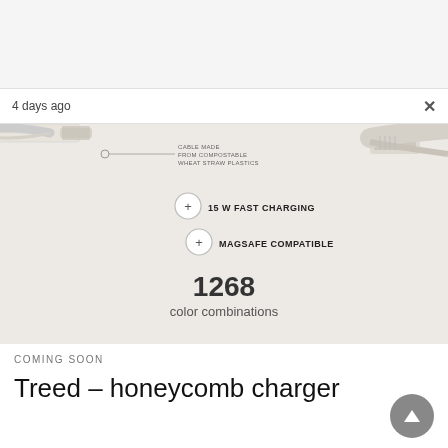4 days ago
[Figure (photo): Product photo of a honeycomb charger cable made from compostable wheat straw plastics, showing USB connectors on both ends, with feature callouts: '15 W FAST CHARGING' and 'MAGSAFE COMPATIBLE', and text reading '1268 color combinations'. Annotation line pointing to cable reads 'CABLE MADE FROM COMPOSTABLE WHEAT STRAW PLASTICS'.]
COMING SOON
Treed – honeycomb charger